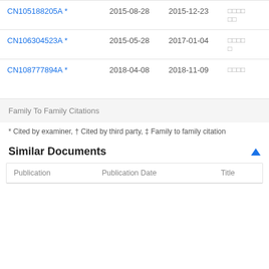| Publication | Filing Date | Publication Date | Assignee |
| --- | --- | --- | --- |
| CN105188205A * | 2015-08-28 | 2015-12-23 | □□□□□□ |
| CN106304523A * | 2015-05-28 | 2017-01-04 | □□□□□ |
| CN108777894A * | 2018-04-08 | 2018-11-09 | □□□□ |
Family To Family Citations
* Cited by examiner, † Cited by third party, ‡ Family to family citation
Similar Documents
| Publication | Publication Date | Title |
| --- | --- | --- |